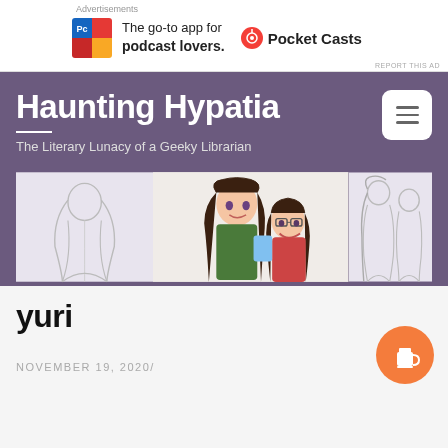[Figure (infographic): Advertisement banner: Pocket Casts app ad — colorful grid logo on left, text 'The go-to app for podcast lovers.' in center, Pocket Casts logo and name on right.]
Haunting Hypatia
The Literary Lunacy of a Geeky Librarian
[Figure (illustration): Banner illustration showing three panels: left panel has a faint pencil sketch of a long-haired figure; center panel shows two anime-style characters with dark hair, one wearing glasses; right panel shows a pencil sketch of two characters standing together.]
yuri
NOVEMBER 19, 2020/